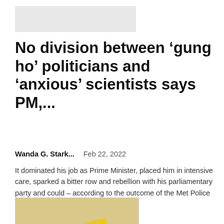[Figure (photo): Gray placeholder image strip at top]
No division between ‘gung ho’ politicians and ‘anxious’ scientists says PM,...
Wanda G. Stark...   Feb 22, 2022
It dominated his job as Prime Minister, placed him in intensive care, sparked a bitter row and rebellion with his parliamentary party and could – according to the outcome of the Met Police investigation – ultimately cost Boris...
[Figure (illustration): Cubist-style artwork showing stacked geometric book shapes in blue, red, yellow, and black on a beige background]